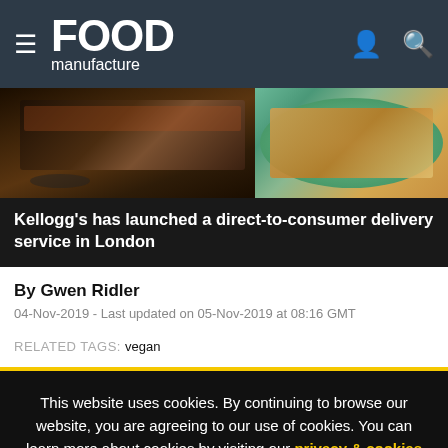Food Manufacture
[Figure (photo): Food items including decorated flatbreads/cereals on dark trays on the left and roasted/caramelized dish on a green plate on the right]
Kellogg's has launched a direct-to-consumer delivery service in London
By Gwen Ridler
04-Nov-2019 - Last updated on 05-Nov-2019 at 08:16 GMT
RELATED TAGS: vegan
This website uses cookies. By continuing to browse our website, you are agreeing to our use of cookies. You can learn more about cookies by visiting our privacy & cookies policy page.
I Agree